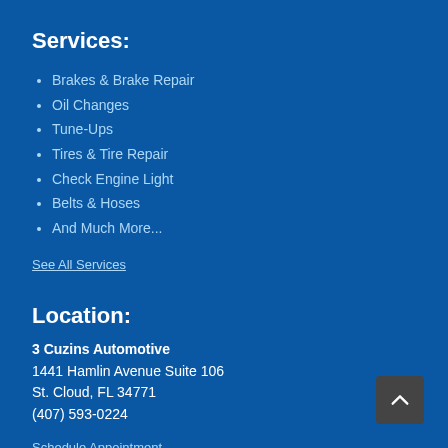Services:
Brakes & Brake Repair
Oil Changes
Tune-Ups
Tires & Tire Repair
Check Engine Light
Belts & Hoses
And Much More...
See All Services
Location:
3 Cuzins Automotive
1441 Hamlin Avenue Suite 106
St. Cloud, FL 34771
(407) 593-0224
Schedule Appointment